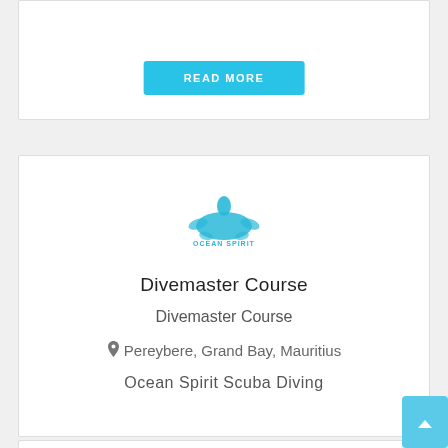READ MORE
[Figure (logo): Ocean Spirit Scuba Diving logo with a sea turtle and wave graphic]
Divemaster Course
Divemaster Course
Pereybere, Grand Bay, Mauritius
Ocean Spirit Scuba Diving